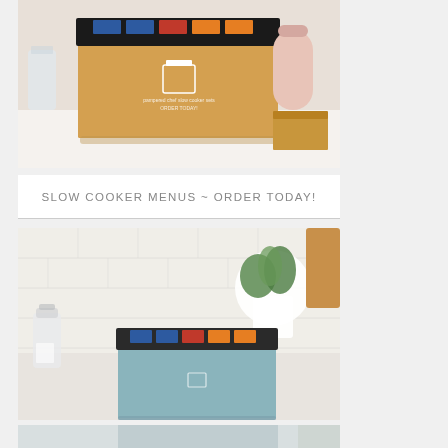[Figure (photo): A tan/kraft colored cardboard box containing slow cooker meal kit packets on a white counter surface, with a pink canister and a small kraft box in the background.]
SLOW COOKER MENUS ~ ORDER TODAY!
[Figure (photo): A light blue/mint colored box containing slow cooker meal kit packets sitting on a white counter with subway tile backsplash, a small salt shaker on the left, and a white pot with green plant in the background.]